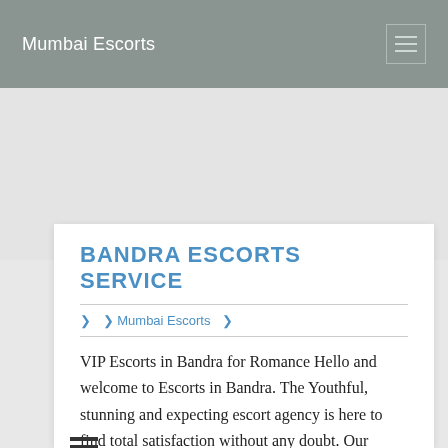Mumbai Escorts
BANDRA ESCORTS SERVICE
❯  ❯ Mumbai Escorts  ❯
VIP Escorts in Bandra for Romance Hello and welcome to Escorts in Bandra. The Youthful, stunning and expecting escort agency is here to find total satisfaction without any doubt. Our Escorts have the